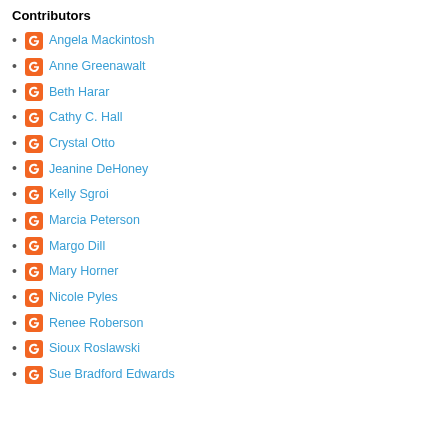Contributors
Angela Mackintosh
Anne Greenawalt
Beth Harar
Cathy C. Hall
Crystal Otto
Jeanine DeHoney
Kelly Sgroi
Marcia Peterson
Margo Dill
Mary Horner
Nicole Pyles
Renee Roberson
Sioux Roslawski
Sue Bradford Edwards